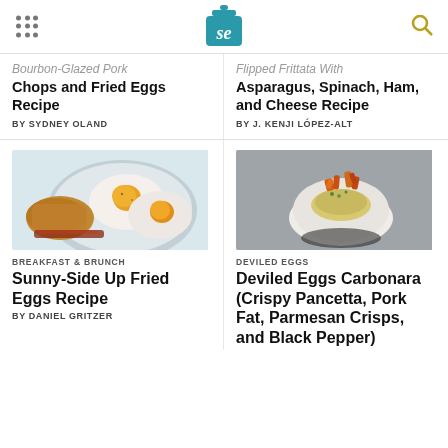Serious Eats logo and navigation
Bourbon-Glazed Pork Chops and Fried Eggs Recipe
BY SYDNEY OLAND
Flipped Frittata With Asparagus, Spinach, Ham, and Cheese Recipe
BY J. KENJI LÓPEZ-ALT
[Figure (photo): Two sunny-side up fried eggs on a gray plate with hash browns and bacon]
BREAKFAST & BRUNCH
Sunny-Side Up Fried Eggs Recipe
BY DANIEL GRITZER
[Figure (photo): Deviled egg with crispy pancetta and parmesan crisps on a dark background]
DEVILED EGGS
Deviled Eggs Carbonara (Crispy Pancetta, Pork Fat, Parmesan Crisps, and Black Pepper)